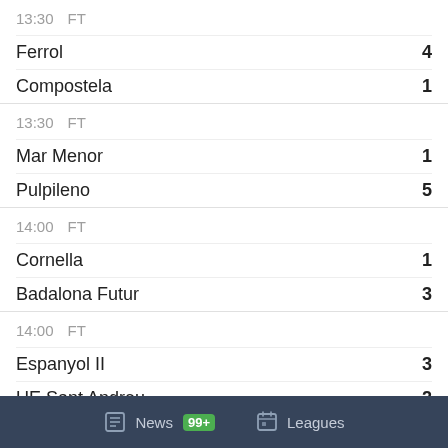13:30   FT
| Team | Score |
| --- | --- |
| Ferrol | 4 |
| Compostela | 1 |
13:30   FT
| Team | Score |
| --- | --- |
| Mar Menor | 1 |
| Pulpileno | 5 |
14:00   FT
| Team | Score |
| --- | --- |
| Cornella | 1 |
| Badalona Futur | 3 |
14:00   FT
| Team | Score |
| --- | --- |
| Espanyol II | 3 |
| UE Sant Andreu | 2 |
14:00   NS
| Team | Score |
| --- | --- |
| Cornella | 0 |
| Badalona | 0 |
News  99+  Leagues